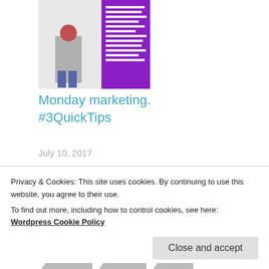[Figure (illustration): Book cover thumbnail with a figure and purple background with white text, displayed on a white background]
Monday marketing. #3QuickTips
July 10, 2017
In "Book marketing tips"
Monday Marketing. #3QuickTips
AMAZON  AUTHORS  BLOG  .
Privacy & Cookies: This site uses cookies. By continuing to use this website, you agree to their use.
To find out more, including how to control cookies, see here: Wordpress Cookie Policy
Close and accept